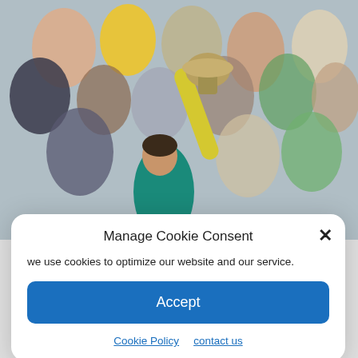[Figure (photo): A tennis player in a yellow and teal outfit holds a trophy aloft with one arm raised, celebrating on a clay court with a crowd of spectators in the background.]
Manage Cookie Consent
we use cookies to optimize our website and our service.
Accept
Cookie Policy   contact us